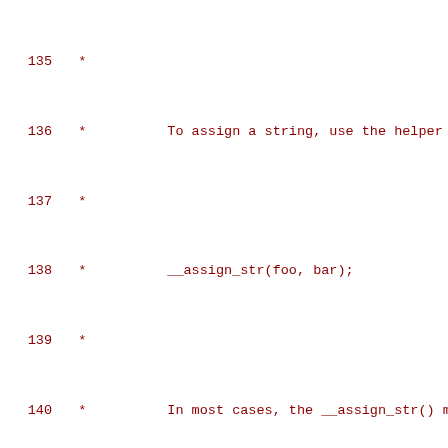135  *
136  *          To assign a string, use the helper ma
137  *
138  *          __assign_str(foo, bar);
139  *
140  *          In most cases, the __assign_str() ma
141  *          parameters as the __string() macro ha
142  *
143  *   __bitmask: This is another kind of __dynam
144  *          an array of longs, and the number of
145  *          two parameters (name, nr_bits), where
146  *          bitmask to save, and the nr_bits is t
147  *
148  *          __bitmask(target_cpu, nr_cpumask_bits
149  *
150  *          To assign a bitmask, use the __assign
151  *
152  *          __assign_bitmask(target_cpus, cpumas
153  *
154  *
155  * fast_assign: This is a C like function that t
156  *     into the ring buffer. A special variable